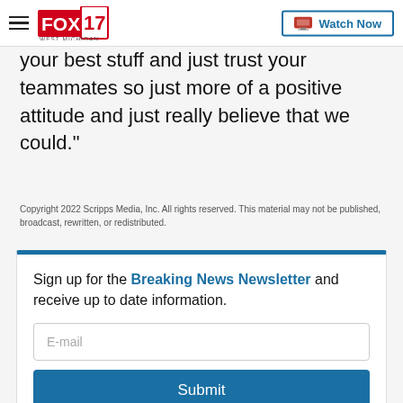FOX 17 West Michigan | Watch Now
your best stuff and just trust your teammates so just more of a positive attitude and just really believe that we could."
Copyright 2022 Scripps Media, Inc. All rights reserved. This material may not be published, broadcast, rewritten, or redistributed.
Sign up for the Breaking News Newsletter and receive up to date information.